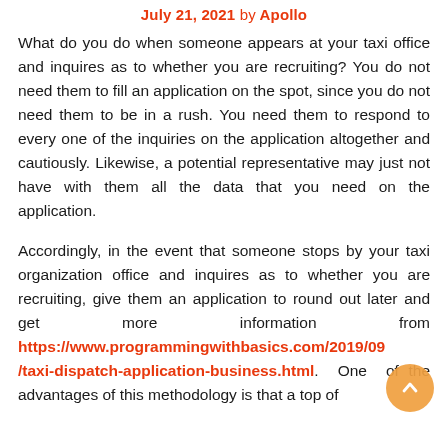July 21, 2021 by Apollo
What do you do when someone appears at your taxi office and inquires as to whether you are recruiting? You do not need them to fill an application on the spot, since you do not need them to be in a rush. You need them to respond to every one of the inquiries on the application altogether and cautiously. Likewise, a potential representative may just not have with them all the data that you need on the application.
Accordingly, in the event that someone stops by your taxi organization office and inquires as to whether you are recruiting, give them an application to round out later and get more information from https://www.programmingwithbasics.com/2019/09/taxi-dispatch-application-business.html. One of the advantages of this methodology is that a top of